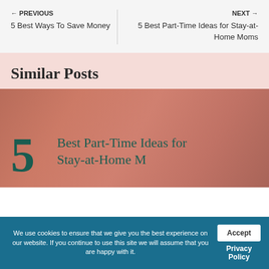← PREVIOUS 5 Best Ways To Save Money | NEXT → 5 Best Part-Time Ideas for Stay-at-Home Moms
Similar Posts
[Figure (illustration): Card thumbnail showing '5 Best Part-Time Ideas for' text with large teal '5' numeral on a salmon/terracotta gradient background]
We use cookies to ensure that we give you the best experience on our website. If you continue to use this site we will assume that you are happy with it.
Accept
Privacy Policy